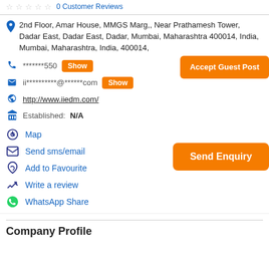0 Customer Reviews
2nd Floor, Amar House, MMGS Marg,, Near Prathamesh Tower, Dadar East, Dadar East, Dadar, Mumbai, Maharashtra 400014, India, Mumbai, Maharashtra, India, 400014,
*******550 Show
ii**********@******com Show
Accept Guest Post
http://www.iiedm.com/
Established: N/A
Map
Send sms/email
Add to Favourite
Write a review
WhatsApp Share
Send Enquiry
Company Profile